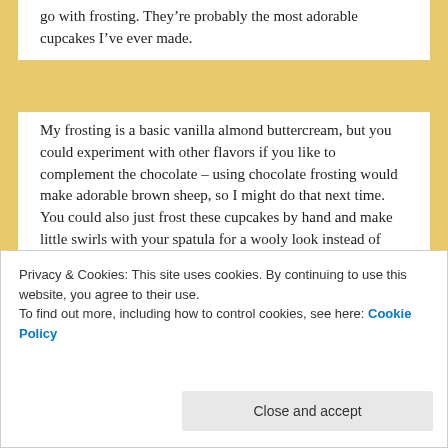go with frosting. They're probably the most adorable cupcakes I've ever made.
My frosting is a basic vanilla almond buttercream, but you could experiment with other flavors if you like to complement the chocolate – using chocolate frosting would make adorable brown sheep, so I might do that next time. You could also just frost these cupcakes by hand and make little swirls with your spatula for a wooly look instead of piping, but I really like how these turned out with the star tip.
[Figure (screenshot): Advertisement banner with dark navy background showing a logo with concentric circles on the left and 'CROWD SIGNAL' text in teal/cyan on the right with a dotted circle border around it.]
Privacy & Cookies: This site uses cookies. By continuing to use this website, you agree to their use.
To find out more, including how to control cookies, see here: Cookie Policy